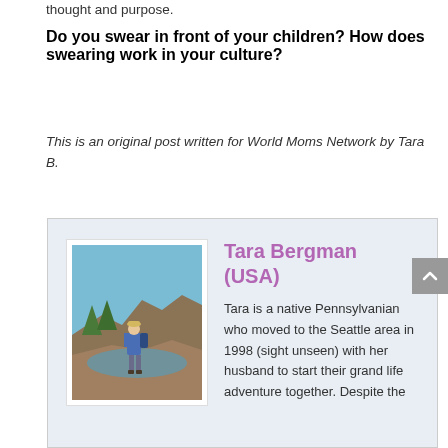thought and purpose.
Do you swear in front of your children? How does swearing work in your culture?
This is an original post written for World Moms Network by Tara B.
[Figure (photo): Author photo of Tara Bergman standing on rocks near water in a mountainous area, wearing a blue jacket and backpack]
Tara Bergman (USA)
Tara is a native Pennsylvanian who moved to the Seattle area in 1998 (sight unseen) with her husband to start their grand life adventure together. Despite the